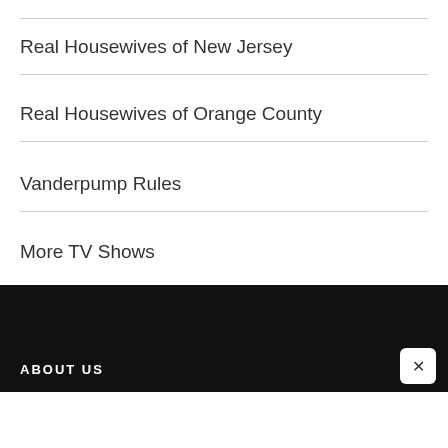Real Housewives of New Jersey
Real Housewives of Orange County
Vanderpump Rules
More TV Shows
ABOUT US